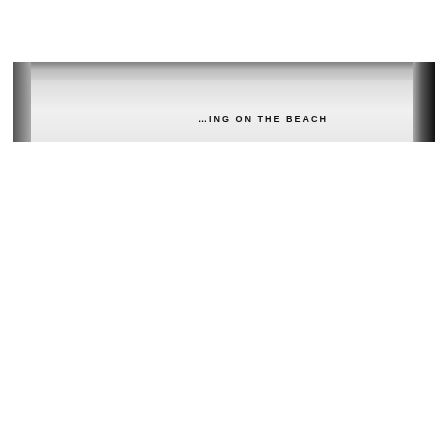[Figure (photo): A blurry/partial photograph of a white page or book cover with dark edges on left and right, showing partial text that reads '...ING ON THE BEACH' in bold capital letters near the bottom center of the image.]